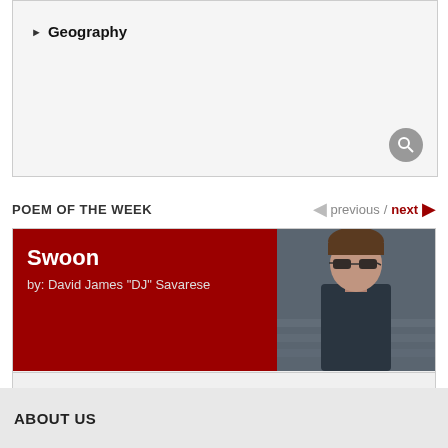Geography
POEM OF THE WEEK
[Figure (photo): Portrait photo of a man with sunglasses and dark shirt sitting on steps]
Swoon
by: David James "DJ" Savarese
My senses always fall in love: / they spin, swoon; // they lose themselves in one / another's arms.
keep reading >
ABOUT US